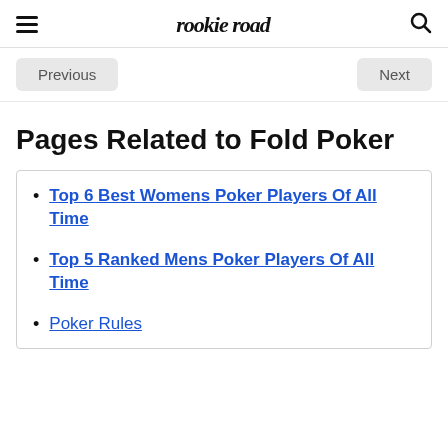rookie road
Previous   Next
Pages Related to Fold Poker
Top 6 Best Womens Poker Players Of All Time
Top 5 Ranked Mens Poker Players Of All Time
Poker Rules